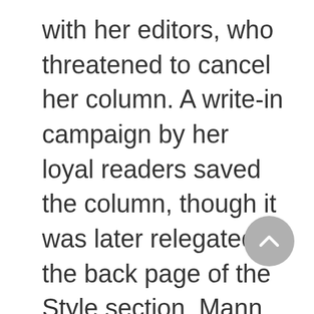with her editors, who threatened to cancel her column. A write-in campaign by her loyal readers saved the column, though it was later relegated to the back page of the Style section. Mann also was vocal about women's rights in the office, pushing for equal pay and fairer promotion practices at the newspaper. Retiring in 2001, she split her time between her homes in the Shenandoah Valley and in Palm Springs. The winner of numerous honors for her journalism